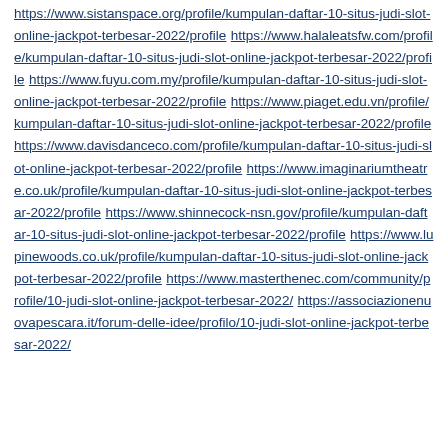https://www.sistanspace.org/profile/kumpulan-daftar-10-situs-judi-slot-online-jackpot-terbesar-2022/profile https://www.halaleatsfw.com/profile/kumpulan-daftar-10-situs-judi-slot-online-jackpot-terbesar-2022/profile https://www.fuyu.com.my/profile/kumpulan-daftar-10-situs-judi-slot-online-jackpot-terbesar-2022/profile https://www.piaget.edu.vn/profile/kumpulan-daftar-10-situs-judi-slot-online-jackpot-terbesar-2022/profile https://www.davisdanceco.com/profile/kumpulan-daftar-10-situs-judi-slot-online-jackpot-terbesar-2022/profile https://www.imaginariumtheatre.co.uk/profile/kumpulan-daftar-10-situs-judi-slot-online-jackpot-terbesar-2022/profile https://www.shinnecock-nsn.gov/profile/kumpulan-daftar-10-situs-judi-slot-online-jackpot-terbesar-2022/profile https://www.lupinewoods.co.uk/profile/kumpulan-daftar-10-situs-judi-slot-online-jackpot-terbesar-2022/profile https://www.masterthenec.com/community/profile/10-judi-slot-online-jackpot-terbesar-2022/ https://associazionenuovapescara.it/forum-delle-idee/profilo/10-judi-slot-online-jackpot-terbesar-2022/